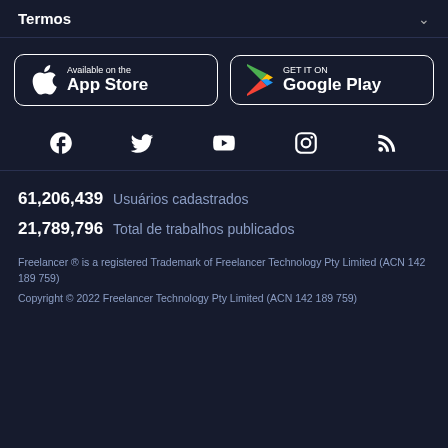Termos
[Figure (screenshot): App Store button - Available on the App Store]
[Figure (screenshot): Google Play button - GET IT ON Google Play]
[Figure (infographic): Social media icons: Facebook, Twitter, YouTube, Instagram, RSS]
61,206,439  Usuários cadastrados
21,789,796  Total de trabalhos publicados
Freelancer ® is a registered Trademark of Freelancer Technology Pty Limited (ACN 142 189 759)
Copyright © 2022 Freelancer Technology Pty Limited (ACN 142 189 759)